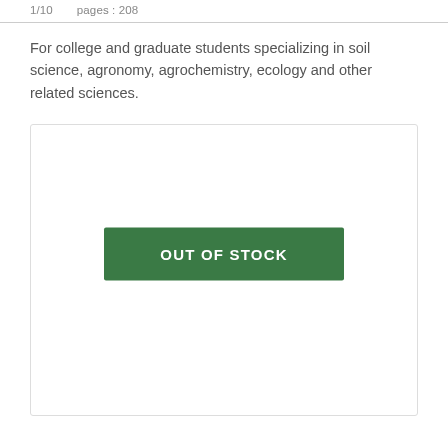1/10   pages : 208
For college and graduate students specializing in soil science, agronomy, agrochemistry, ecology and other related sciences.
[Figure (other): Out of Stock button in a bordered card box with a dark green rectangular button labeled 'OUT OF STOCK' in white text]